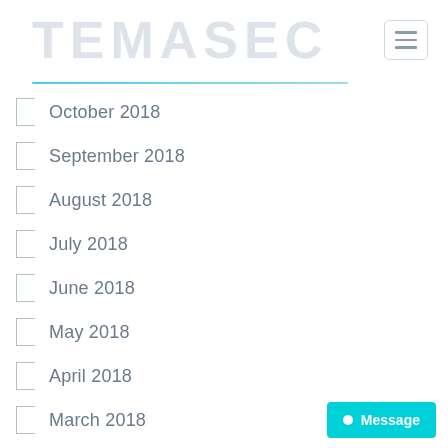TEMASEC
October 2018
September 2018
August 2018
July 2018
June 2018
May 2018
April 2018
March 2018
February 2018